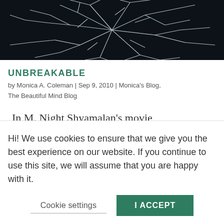[Figure (photo): Close-up photo of shattered dark glass with white crack lines forming a spider-web pattern]
UNBREAKABLE
by Monica A. Coleman | Sep 9, 2010 | Monica's Blog, The Beautiful Mind Blog
In M. Night Shyamalan's movie “Unbreakable,” (2000) two characters are juxtaposed: Elijah Price (played by Samuel
Hi! We use cookies to ensure that we give you the best experience on our website. If you continue to use this site, we will assume that you are happy with it.
Cookie settings | I ACCEPT